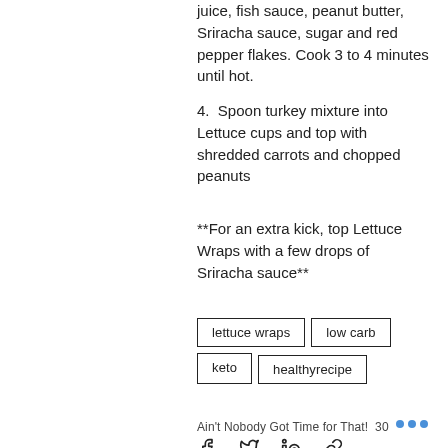juice, fish sauce, peanut butter, Sriracha sauce, sugar and red pepper flakes. Cook 3 to 4 minutes until hot.
4. Spoon turkey mixture into Lettuce cups and top with shredded carrots and chopped peanuts
**For an extra kick, top Lettuce Wraps with a few drops of Sriracha sauce**
lettuce wraps   low carb   keto   healthyrecipe
Ain't Nobody Got Time for That! 30